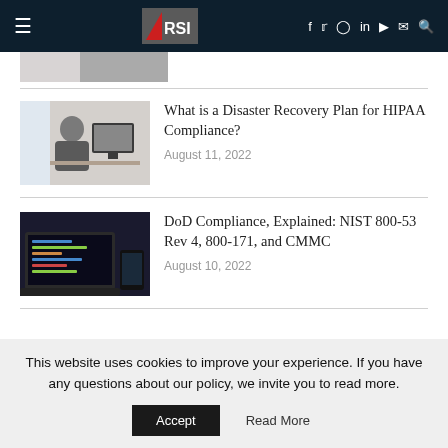RSI — navigation header with logo, hamburger menu, and social icons
[Figure (photo): Partial cropped photo strip at top of content area]
What is a Disaster Recovery Plan for HIPAA Compliance?
August 11, 2022
[Figure (photo): Person sitting at desk working at computer monitor]
DoD Compliance, Explained: NIST 800-53 Rev 4, 800-171, and CMMC
August 10, 2022
[Figure (photo): Laptop with code on screen, phone beside it]
This website uses cookies to improve your experience. If you have any questions about our policy, we invite you to read more.